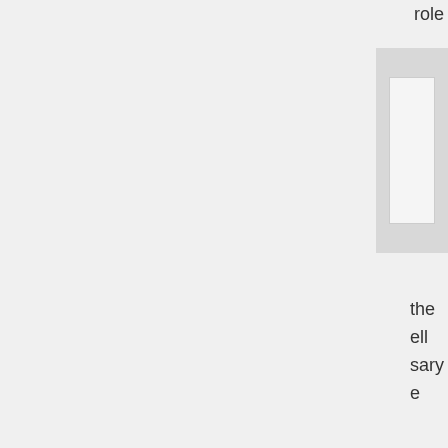role
[Figure (other): A light gray rectangular image placeholder box with a lighter inner rectangle]
the
ell
sary
e
y."
ewar
rthy
f